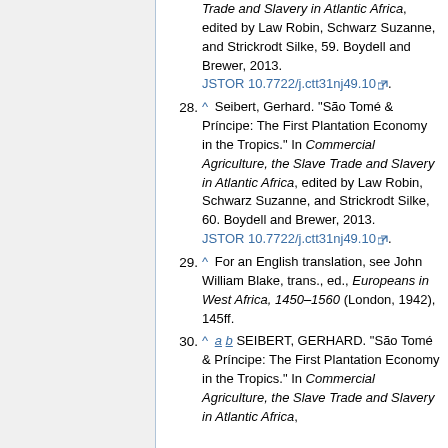28. ^ Seibert, Gerhard. "São Tomé & Príncipe: The First Plantation Economy in the Tropics." In Commercial Agriculture, the Slave Trade and Slavery in Atlantic Africa, edited by Law Robin, Schwarz Suzanne, and Strickrodt Silke, 60. Boydell and Brewer, 2013. JSTOR 10.7722/j.ctt31nj49.10.
29. ^ For an English translation, see John William Blake, trans., ed., Europeans in West Africa, 1450–1560 (London, 1942), 145ff.
30. ^ a b SEIBERT, GERHARD. "São Tomé & Príncipe: The First Plantation Economy in the Tropics." In Commercial Agriculture, the Slave Trade and Slavery in Atlantic Africa,